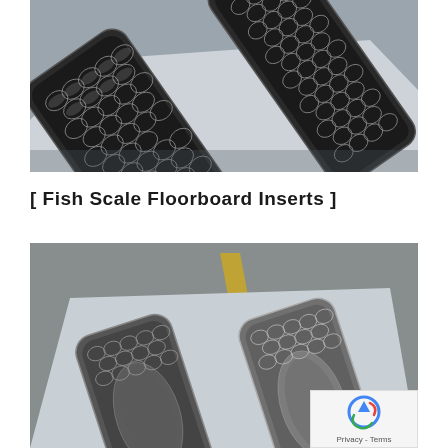[Figure (photo): Close-up photograph of fish scale patterned metal floorboard inserts laid on a light blue/grey surface, showing detailed overlapping scale texture in chrome/silver tones]
[ Fish Scale Floorboard Inserts ]
[Figure (photo): Photograph of two fish scale floorboard inserts laid flat on a light blue surface outdoors. Each insert has a fish engraving in the center surrounded by a fish scale pattern. A reCAPTCHA privacy badge is visible in the bottom-right corner.]